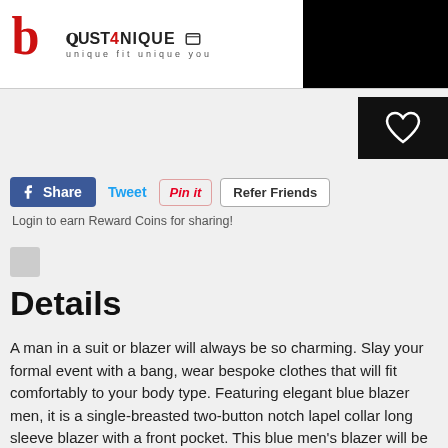[Figure (logo): Just4Unique brand logo with stylized 'b' icon in red, brand name 'JUST4UNIQUE' and tagline 'unique fit unique you', plus a red hamburger menu button circle]
[Figure (other): Black rectangle in upper right corner of header]
[Figure (other): Black square button with white heart outline icon (wishlist button)]
[Figure (other): Social sharing buttons row: Facebook Share (blue), Tweet (blue text), Pin it (red italic), Refer Friends (outlined)]
Login to earn Reward Coins for sharing!
[Figure (other): Small gray square icon]
Details
A man in a suit or blazer will always be so charming. Slay your formal event with a bang, wear bespoke clothes that will fit comfortably to your body type. Featuring elegant blue blazer men, it is a single-breasted two-button notch lapel collar long sleeve blazer with a front pocket. This blue men's blazer will be the best